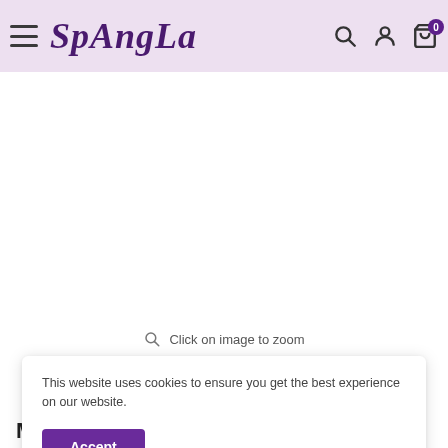SpAngLa — navigation header with hamburger menu, logo, search, account, and cart (0 items)
Click on image to zoom
This website uses cookies to ensure you get the best experience on our website.
Accept
Mab Dresses Stretch Sample...